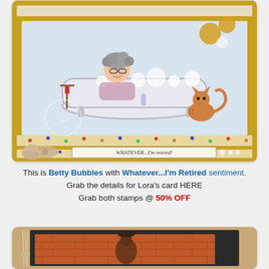[Figure (photo): A handmade greeting card featuring an illustrated elderly woman (Betty Bubbles) in a bathtub full of bubbles with a cat beside the tub. The card has a yellow/gold border with floral patterned paper layers, a burlap bow, and a sentiment strip reading 'WHATEVER...I'm retired!' with decorative pearl embellishments.]
This is Betty Bubbles with Whatever...I'm Retired sentiment.
Grab the details for Lora's card HERE
Grab both stamps @ 50% OFF
[Figure (photo): A handmade greeting card with a brick wall textured background (orange/terra cotta) set in a dark frame with kraft paper layers and twine embellishment on the left side. A figure appears to be leaning against the brick wall.]